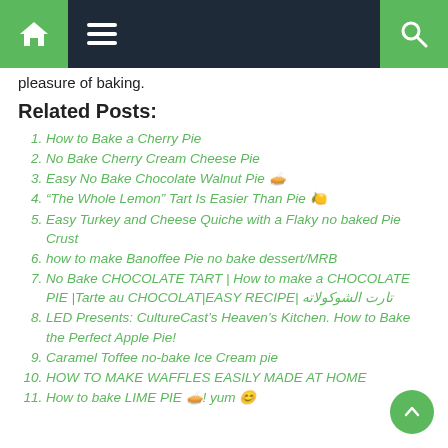Navigation bar with home, menu, and search icons
pleasure of baking.
Related Posts:
How to Bake a Cherry Pie
No Bake Cherry Cream Cheese Pie
Easy No Bake Chocolate Walnut Pie 🥧
“The Whole Lemon” Tart Is Easier Than Pie 🍋
Easy Turkey and Cheese Quiche with a Flaky no baked Pie Crust
how to make Banoffee Pie no bake dessert/MRB
No Bake CHOCOLATE TART | How to make a CHOCOLATE PIE |Tarte au CHOCOLAT|EASY RECIPE| تارت الشوكولاته
LED Presents: CultureCast’s Heaven’s Kitchen. How to Bake the Perfect Apple Pie!
Caramel Toffee no-bake Ice Cream pie
HOW TO MAKE WAFFLES EASILY MADE AT HOME
How to bake LIME PIE 🥧! yum 😊